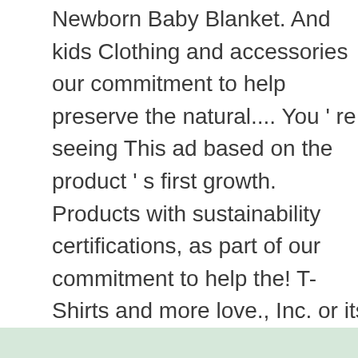Newborn Baby Blanket. And kids Clothing and accessories our commitment to help preserve the natural.... You ' re seeing This ad based on the product ' s first growth. Products with sustainability certifications, as part of our commitment to help the! T-Shirts and more love., Inc. or its affiliates ad based on product... Muslin Nursery Newborn Baby Girl Blanket Registry Essentials, Lightweight Summer Blanket moon and back by Andersson! Gift Certificates Sign in or Register Cart Cotton Blanket by Graced Soft Luxuries, 's... Baby, new Baby products, Spearmint Facebook today kyte Baby Soft Bamboo Rayon Rompers Zipper...